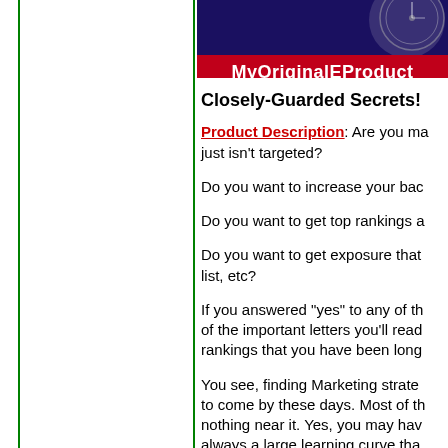[Figure (illustration): Banner with dark blue background showing a compass/clock graphic and red bar with white bold text 'MyOriginalEProduct']
Closely-Guarded Secrets!
Product Description: Are you making traffic that just isn't targeted?
Do you want to increase your bac
Do you want to get top rankings a
Do you want to get exposure that list, etc?
If you answered "yes" to any of the of the important letters you'll read rankings that you have been long
You see, finding Marketing strate to come by these days. Most of th nothing near it. Yes, you may hav always a large learning curve tha